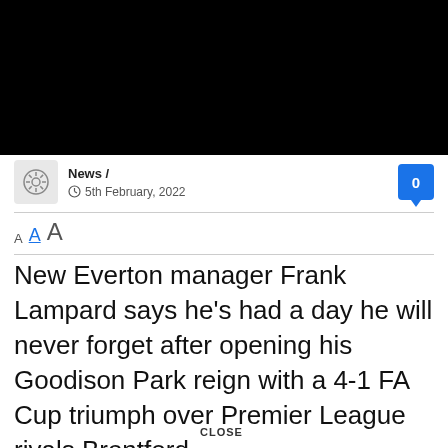[Figure (screenshot): Black video player area at top of page]
News / 5th February, 2022
A A A
New Everton manager Frank Lampard says he's had a day he will never forget after opening his Goodison Park reign with a 4-1 FA Cup triumph over Premier League rivals Brentford.
CLOSE